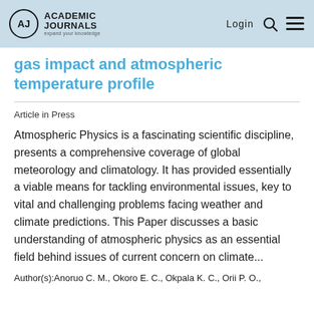Academic Journals | Login
gas impact and atmospheric temperature profile
Article in Press
Atmospheric Physics is a fascinating scientific discipline, presents a comprehensive coverage of global meteorology and climatology. It has provided essentially a viable means for tackling environmental issues, key to vital and challenging problems facing weather and climate predictions. This Paper discusses a basic understanding of atmospheric physics as an essential field behind issues of current concern on climate...
Author(s):Anoruo C. M., Okoro E. C., Okpala K. C., Orii P. O.,